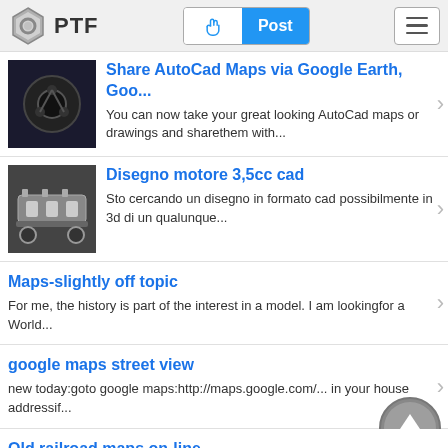PTF | Post
Share AutoCad Maps via Google Earth, Goo...
You can now take your great looking AutoCad maps or drawings and sharethem with...
Disegno motore 3,5cc cad
Sto cercando un disegno in formato cad possibilmente in 3d di un qualunque...
Maps-slightly off topic
For me, the history is part of the interest in a model. I am lookingfor a World...
google maps street view
new today:goto google maps:http://maps.google.com/... in your house addressif...
Old railroad maps on-line
I'm scanning my collection of old maps (late 1800s mostly) and puttingthem...